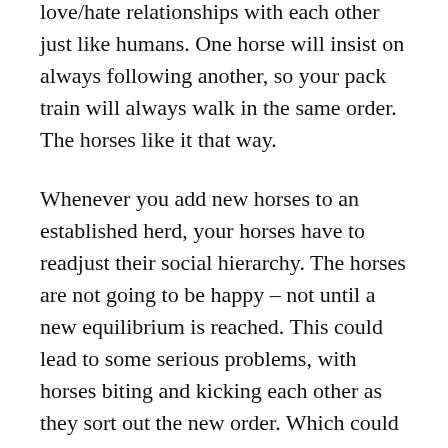love/hate relationships with each other just like humans. One horse will insist on always following another, so your pack train will always walk in the same order. The horses like it that way.
Whenever you add new horses to an established herd, your horses have to readjust their social hierarchy. The horses are not going to be happy – not until a new equilibrium is reached. This could lead to some serious problems, with horses biting and kicking each other as they sort out the new order. Which could mean thrown packs, scattered and broken goods, and injured horses.
But we'll hope that won't happen, because